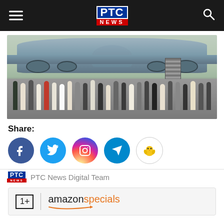PTC NEWS
[Figure (photo): People carrying luggage walking on airport tarmac in front of a large military transport aircraft (C-17). Evacuation scene with many passengers wearing masks and carrying bags.]
Share:
[Figure (infographic): Social media share buttons: Facebook (blue), Twitter (light blue), Instagram (gradient), Telegram (blue), Koo (white with yellow chick)]
PTC News Digital Team
[Figure (logo): OnePlus | amazon specials advertisement banner]